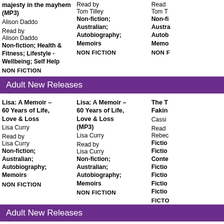majesty in the mayhem (MP3) Alison Daddo
Read by Alison Daddo
Non-fiction; Health & Fitness; Lifestyle - Wellbeing; Self Help
NON FICTION
Read by Tom Tilley
Non-fiction; Australian; Autobiography; Memoirs
NON FICTION
Read
Tom T
Non-fi
Austra
Autob
Memo
NON F
Adult New Releases
Lisa: A Memoir – 60 Years of Life, Love & Loss
Lisa Curry
Read by Lisa Curry
Non-fiction; Australian; Autobiography; Memoirs
NON FICTION
Lisa: A Memoir – 60 Years of Life, Love & Loss (MP3)
Lisa Curry
Read by Lisa Curry
Non-fiction; Australian; Autobiography; Memoirs
NON FICTION
The T
Fakin
Cassi
Read
Rebec
Fictio
Fictio
Conte
Fictio
Fictio
Fictio
Fictio
FICTO
Adult New Releases
Red (MP3)
Felicity McLean
Read by
Keep Her Sweet
Helen FitzGerald
Read by
Keep (MP3)
Helen